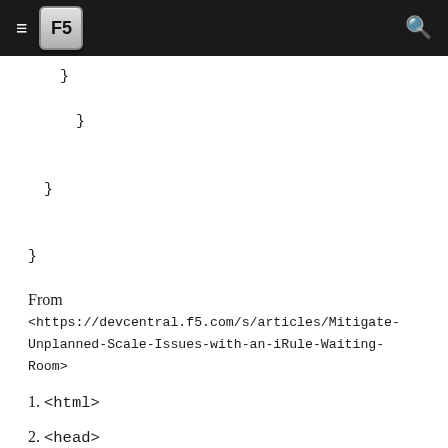F5
}
    }
  }
}
From <https://devcentral.f5.com/s/articles/Mitigate-Unplanned-Scale-Issues-with-an-iRule-Waiting-Room>
1. <html>
2. <head>
3. <meta http-equiv="refresh" content="60">
4. <title>Online Waiting Room</title>